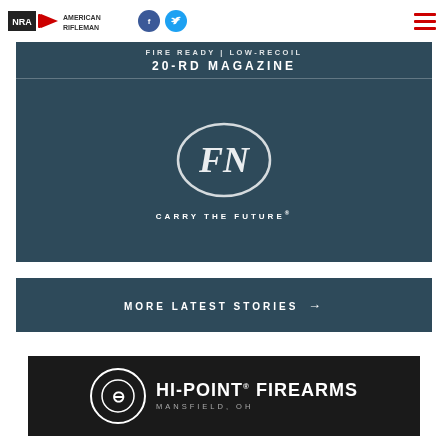NRA American Rifleman
[Figure (advertisement): FN Firearms advertisement with dark teal background. Top band shows text 'FIRE READY | LOW-RECOIL' and '20-RD MAGAZINE'. Lower portion shows FN oval logo with interlocking letters and tagline 'CARRY THE FUTURE']
MORE LATEST STORIES →
[Figure (advertisement): Hi-Point Firearms advertisement on black background with circular logo and text 'HI-POINT FIREARMS MANSFIELD, OH']